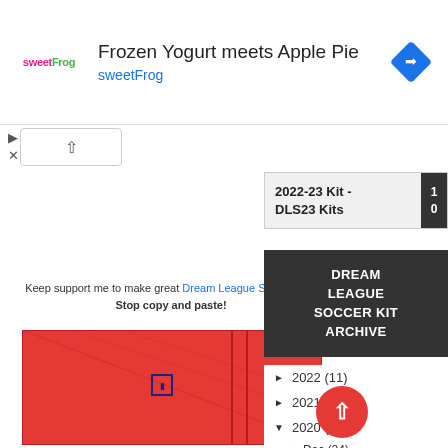[Figure (screenshot): Ad banner for sweetFrog frozen yogurt — logo on left, title 'Frozen Yogurt meets Apple Pie', subtitle 'sweetFrog', blue navigation arrow icon on right]
[Figure (screenshot): Collapse/chevron-up button UI element]
Keep support me to make great Dream League Soccer Kits. Stop copy and paste!
[Figure (screenshot): Red soccer kit image with dark pattern overlay]
2022-23 Kit - DLS23 Kits
DREAM LEAGUE SOCCER KIT ARCHIVE
► 2022 (11)
► 2021 (35)
▼ 2020 (103)
► Dec (24)
► Nov (5)
► Oct (15)
► Sep (1...)
▼ Aug (3)